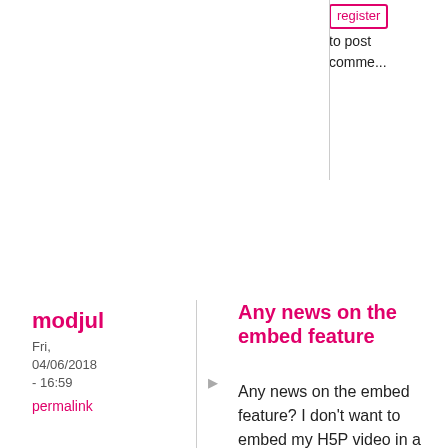register to post comments
modjul
Fri, 04/06/2018 - 16:59
permalink
Any news on the embed feature
Any news on the embed feature? I don't want to embed my H5P video in a post, but I would like to embed it in another part of my wordpress site. In fact, I would like to embed the video on my Slider Revolution slide. Thanks!